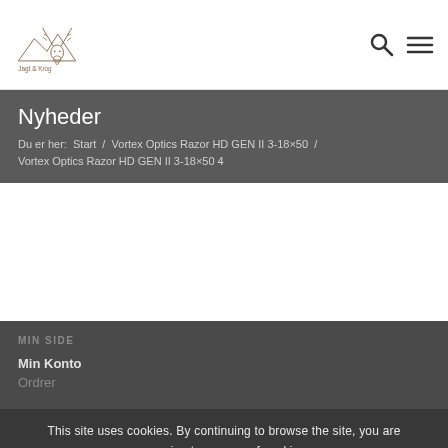[Figure (logo): Jagt & Krog hunting website logo with deer antler illustration and mountain silhouette]
Nyheder
Du er her: Start / Vortex Optics Razor HD GEN II 3-18×50 / Vortex Optics Razor HD GEN II 3-18×50 4
MIN SIDE
Min Konto
Ordrer
This site uses cookies. By continuing to browse the site, you are agreeing to our use of cookies.